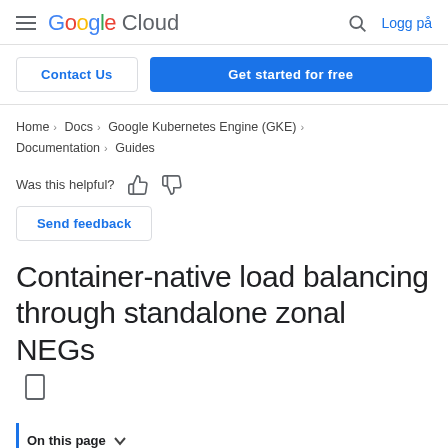Google Cloud — Logg på
Contact Us | Get started for free
Home > Docs > Google Kubernetes Engine (GKE) > Documentation > Guides
Was this helpful?
Send feedback
Container-native load balancing through standalone zonal NEGs
On this page
Overview